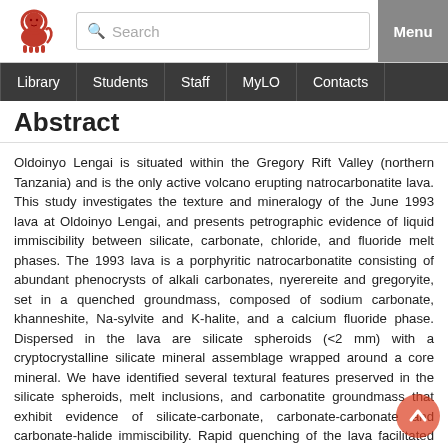University website header with logo, search bar, and Menu button
Library | Students | Staff | MyLO | Contacts
Abstract
Oldoinyo Lengai is situated within the Gregory Rift Valley (northern Tanzania) and is the only active volcano erupting natrocarbonatite lava. This study investigates the texture and mineralogy of the June 1993 lava at Oldoinyo Lengai, and presents petrographic evidence of liquid immiscibility between silicate, carbonate, chloride, and fluoride melt phases. The 1993 lava is a porphyritic natrocarbonatite consisting of abundant phenocrysts of alkali carbonates, nyerereite and gregoryite, set in a quenched groundmass, composed of sodium carbonate, khanneshite, Na-sylvite and K-halite, and a calcium fluoride phase. Dispersed in the lava are silicate spheroids (<2 mm) with a cryptocrystalline silicate mineral assemblage wrapped around a core mineral. We have identified several textural features preserved in the silicate spheroids, melt inclusions, and carbonatite groundmass that exhibit evidence of silicate-carbonate, carbonate-carbonate and carbonate-halide immiscibility. Rapid quenching of the lava facilitated the preservation of the end products of these liquid immiscibility processes within the groundmass. Textural evidence (at both macro-